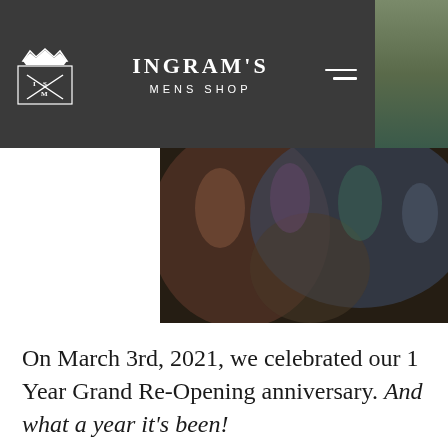INGRAM'S MENS SHOP
[Figure (photo): Blurred group photo of people in a shop, used as a banner image behind the navigation header]
On March 3rd, 2021, we celebrated our 1 Year Grand Re-Opening anniversary. And what a year it's been!
The odds were seemingly stacked against us but with the support of our incredible customers, community and staff, we're standing here today – stronger than when we started and looking ahead to a brighter and more